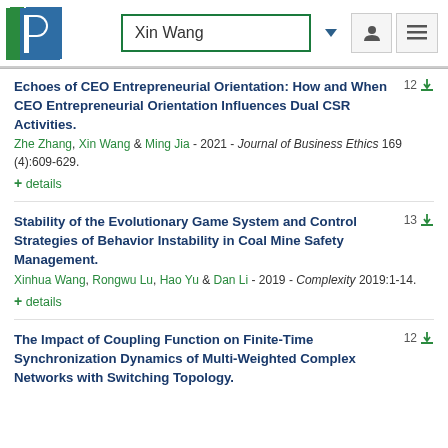Xin Wang
Echoes of CEO Entrepreneurial Orientation: How and When CEO Entrepreneurial Orientation Influences Dual CSR Activities. 12
Zhe Zhang, Xin Wang & Ming Jia - 2021 - Journal of Business Ethics 169 (4):609-629.
+ details
Stability of the Evolutionary Game System and Control Strategies of Behavior Instability in Coal Mine Safety Management. 13
Xinhua Wang, Rongwu Lu, Hao Yu & Dan Li - 2019 - Complexity 2019:1-14.
+ details
The Impact of Coupling Function on Finite-Time Synchronization Dynamics of Multi-Weighted Complex Networks with Switching Topology. 12